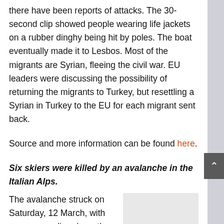there have been reports of attacks. The 30-second clip showed people wearing life jackets on a rubber dinghy being hit by poles. The boat eventually made it to Lesbos. Most of the migrants are Syrian, fleeing the civil war. EU leaders were discussing the possibility of returning the migrants to Turkey, but resettling a Syrian in Turkey to the EU for each migrant sent back.
Source and more information can be found here.
Six skiers were killed by an avalanche in the Italian Alps.
The avalanche struck on Saturday, 12 March, with snow cascading down the mountain. The avalanche was near Monte Nevoso's peak. Helicopters shuttled both the dead bodies
[Figure (photo): A light grey/beige rectangular image placeholder on the right side of the page, partially visible.]